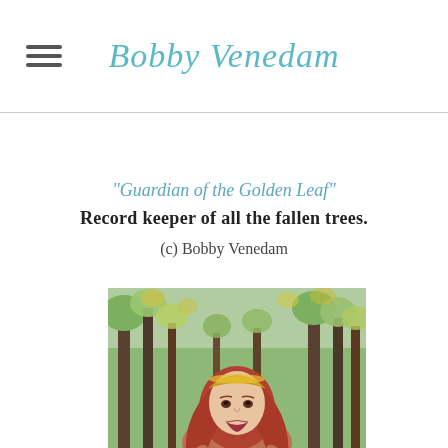Bobby Venedam
"Guardian of the Golden Leaf"
Record keeper of all the fallen trees.
(c) Bobby Venedam
[Figure (illustration): Painting of a woman with long red hair and a golden crown/headband, set against a forest background with green trees]